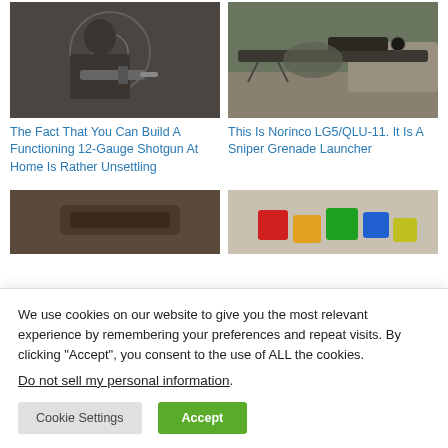[Figure (photo): Man in dark shirt holding a handgun/shotgun, indoor setting with target in background]
[Figure (photo): Soldier or sniper in camouflage aiming a large scoped sniper rifle with grenade launcher, outdoor rocky setting]
The Fact That You Can Build A Functioning 12-Gauge Shotgun At Home Is Rather Unsettling
This Is Norinco LG5/QLU-11. It Is A Sniper Grenade Launcher
[Figure (photo): Partial image, dark tones, appears to be firearm or weapon related]
[Figure (photo): Partial image, colorful plastic toy-like objects, blurred background]
We use cookies on our website to give you the most relevant experience by remembering your preferences and repeat visits. By clicking “Accept”, you consent to the use of ALL the cookies.
Do not sell my personal information.